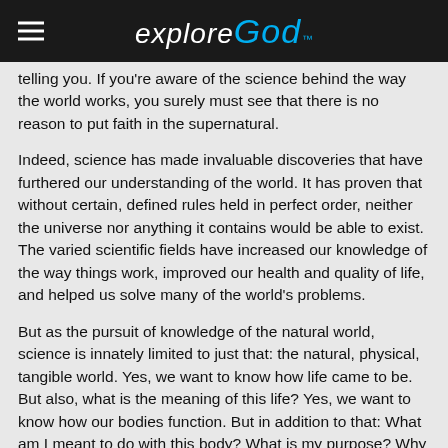explore God
telling you. If you're aware of the science behind the way the world works, you surely must see that there is no reason to put faith in the supernatural.
Indeed, science has made invaluable discoveries that have furthered our understanding of the world. It has proven that without certain, defined rules held in perfect order, neither the universe nor anything it contains would be able to exist. The varied scientific fields have increased our knowledge of the way things work, improved our health and quality of life, and helped us solve many of the world's problems.
But as the pursuit of knowledge of the natural world, science is innately limited to just that: the natural, physical, tangible world. Yes, we want to know how life came to be. But also, what is the meaning of this life? Yes, we want to know how our bodies function. But in addition to that: What am I meant to do with this body? What is my purpose? Why am I here? What is the point of all this?